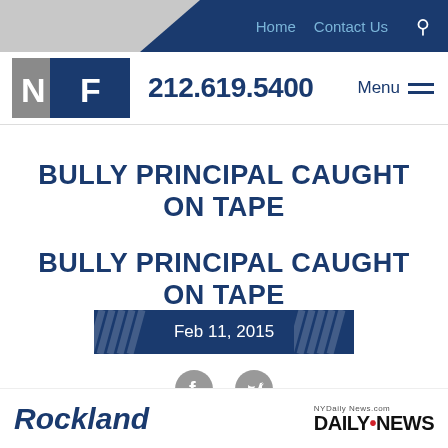Home  Contact Us
[Figure (logo): NF law firm logo with gray N block and blue F block]
212.619.5400  Menu
BULLY PRINCIPAL CAUGHT ON TAPE
Feb 11, 2015
[Figure (illustration): Facebook and Twitter social share icons]
Rockland
[Figure (logo): NYDailyNews.com DAILY NEWS logo]